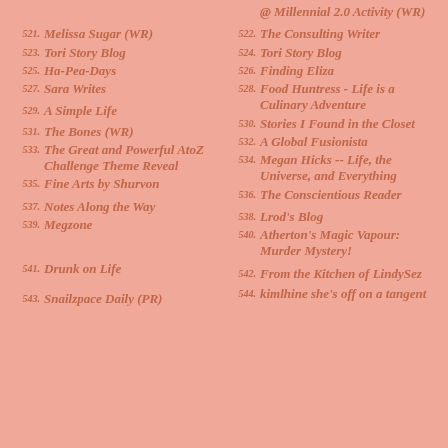@ Millennial 2.0 Activity (WR)
521. Melissa Sugar (WR)
522. The Consulting Writer
523. Tori Story Blog
524. Tori Story Blog
525. Ha-Pea-Days
526. Finding Eliza
527. Sara Writes
528. Food Huntress - Life is a Culinary Adventure
529. A Simple Life
530. Stories I Found in the Closet
531. The Bones (WR)
532. A Global Fusionista
533. The Great and Powerful AtoZ Challenge Theme Reveal
534. Megan Hicks -- Life, the Universe, and Everything
535. Fine Arts by Shurvon
536. The Conscientious Reader
537. Notes Along the Way
538. Lrod's Blog
539. Megzone
540. Atherton's Magic Vapour: Murder Mystery!
541. Drunk on Life
542. From the Kitchen of LindySez
543. Snailzpace Daily (PR)
544. kimlhine she's off on a tangent